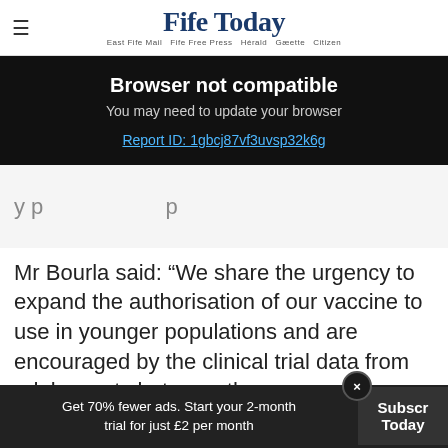Fife Today — East Fife Mail  Fife Free Press  Herald  Gazette  Citizen
Browser not compatible
You may need to update your browser
Report ID: 1gbcj87vf3uvsp32k6g
Mr Bourla said: “We share the urgency to expand the authorisation of our vaccine to use in younger populations and are encouraged by the clinical trial data from adolescents between the ages
[Figure (infographic): RollerAds advertisement banner with circular logo, text 'RollerAds - Global Ad Reach' and a blue 'Learn More' button]
Get 70% fewer ads. Start your 2-month trial for just £2 per month
Subscr... Today